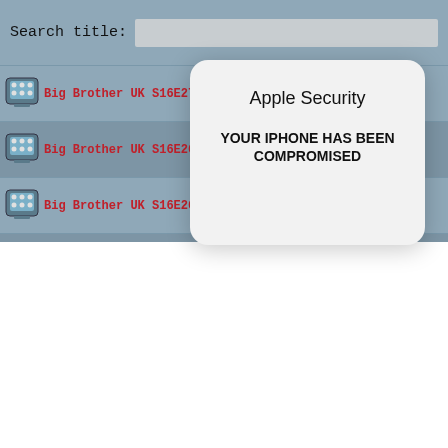[Figure (screenshot): Screenshot of a torrent website with a search bar at top, a list of Big Brother UK torrent links in red monospace text on a blue-gray background, overlaid by an 'Apple Security' modal popup warning 'YOUR IPHONE HAS BEEN COMPROMISED', and a second white popup with a black X close button.]
Search title:
Big Brother UK S16E27 720p HDTV X264-C4TV [eztv]
Big Brother UK S16E26 720p HDTV x264-C4TV [eztv]
Big Brother UK S16E26 HDTV x264-C4TV [eztv]
Big Brother UK S16E25 720p HDTV x264-C4TV [eztv]
Big Br
Big Br
Big Br
Apple Security
YOUR IPHONE HAS BEEN COMPROMISED